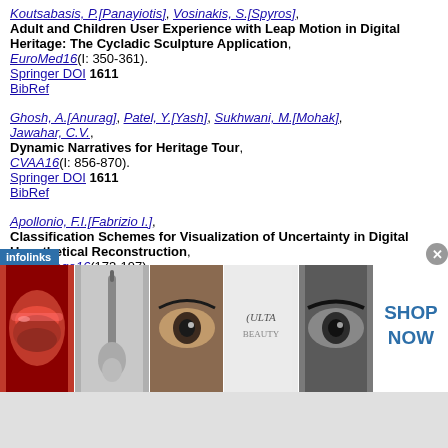Koutsabasis, P.[Panayiotis], Vosinakis, S.[Spyros], Adult and Children User Experience with Leap Motion in Digital Heritage: The Cycladic Sculpture Application, EuroMed16(I: 350-361). Springer DOI 1611 BibRef
Ghosh, A.[Anurag], Patel, Y.[Yash], Sukhwani, M.[Mohak], Jawahar, C.V., Dynamic Narratives for Heritage Tour, CVAA16(I: 856-870). Springer DOI 1611 BibRef
Apollonio, F.I.[Fabrizio I.], Classification Schemes for Visualization of Uncertainty in Digital Hypothetical Reconstruction, 3DHeritage16(173-197). Springer DOI 1611
[Figure (other): Infolinks advertisement banner showing cosmetics/beauty images and ULTA Beauty branding with SHOP NOW call to action]